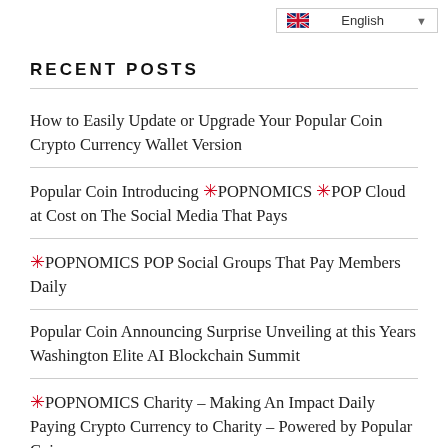English
RECENT POSTS
How to Easily Update or Upgrade Your Popular Coin Crypto Currency Wallet Version
Popular Coin Introducing 🌟POPNOMICS 🌟POP Cloud at Cost on The Social Media That Pays
🌟POPNOMICS POP Social Groups That Pay Members Daily
Popular Coin Announcing Surprise Unveiling at this Years Washington Elite AI Blockchain Summit
🌟POPNOMICS Charity – Making An Impact Daily Paying Crypto Currency to Charity – Powered by Popular Coin